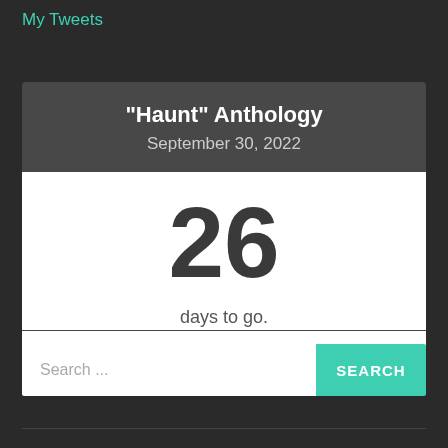My Tweets
"Haunt" Anthology
September 30, 2022
26
days to go.
Search ...
SEARCH